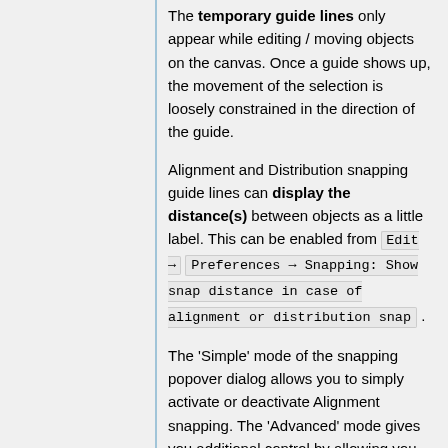The temporary guide lines only appear while editing / moving objects on the canvas. Once a guide shows up, the movement of the selection is loosely constrained in the direction of the guide.
Alignment and Distribution snapping guide lines can display the distance(s) between objects as a little label. This can be enabled from Edit → Preferences → Snapping: Show snap distance in case of alignment or distribution snap .
The 'Simple' mode of the snapping popover dialog allows you to simply activate or deactivate Alignment snapping. The 'Advanced' mode gives you additional control by allowing you to en-/disable: